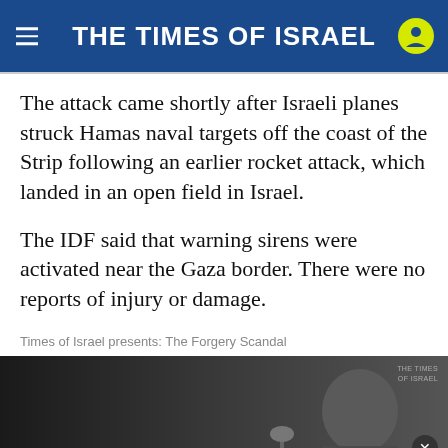THE TIMES OF ISRAEL
The attack came shortly after Israeli planes struck Hamas naval targets off the coast of the Strip following an earlier rocket attack, which landed in an open field in Israel.
The IDF said that warning sirens were activated near the Gaza border. There were no reports of injury or damage.
Times of Israel presents: The Forgery Scandal
[Figure (photo): Video thumbnail showing a man at a podium/lectern, dark background, with Times of Israel watermark. Ad overlay at bottom: JOIN OUR COMMUNITY / Support ToI and remove ads.]